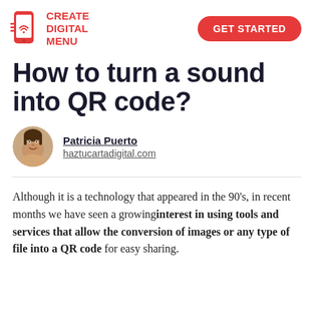[Figure (logo): Create Digital Menu logo with red smartphone icon and red bold uppercase text]
How to turn a sound into QR code?
[Figure (photo): Circular portrait photo of Patricia Puerto, a woman smiling]
Patricia Puerto
haztucartadigital.com
Although it is a technology that appeared in the 90's, in recent months we have seen a growing interest in using tools and services that allow the conversion of images or any type of file into a QR code for easy sharing.